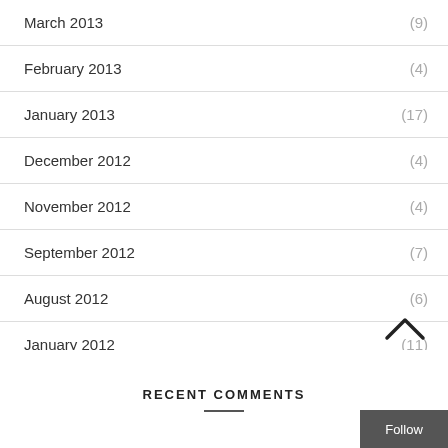March 2013 (9)
February 2013 (4)
January 2013 (17)
December 2012 (4)
November 2012 (4)
September 2012 (7)
August 2012 (6)
January 2012 (11)
RECENT COMMENTS